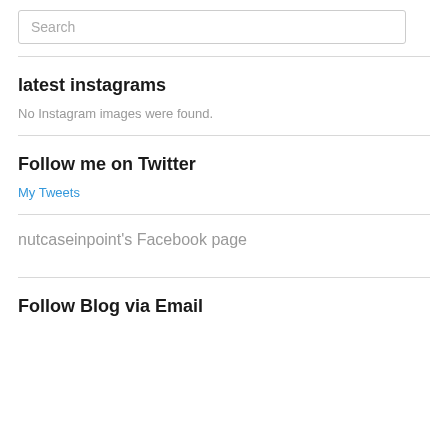Search
latest instagrams
No Instagram images were found.
Follow me on Twitter
My Tweets
nutcaseinpoint's Facebook page
Follow Blog via Email